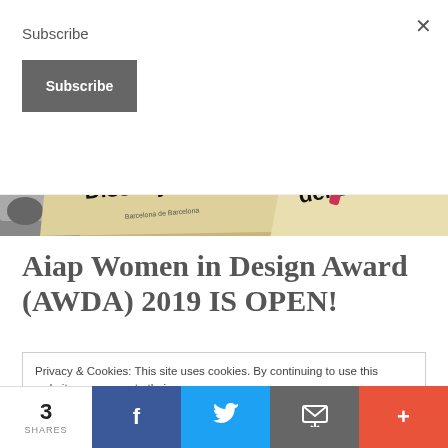Subscribe
Subscribe
[Figure (photo): Hero image showing printed materials/brochures for Museu del Disseny on a wooden surface with a red pen]
Aiap Women in Design Award (AWDA) 2019 IS OPEN!
Privacy & Cookies: This site uses cookies. By continuing to use this website, you agree to their use.
To find out more, including how to control cookies, see here: Cookie Policy
3 SHARES